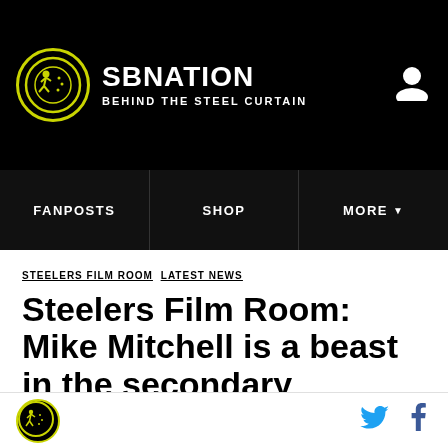SB NATION — BEHIND THE STEEL CURTAIN
FANPOSTS   SHOP   MORE
STEELERS FILM ROOM   LATEST NEWS
Steelers Film Room: Mike Mitchell is a beast in the secondary
Steelers free safety Mike Mitchell has shown tremendous improvement in his second season with the team. Through ten games he has three interceptions and seven pass break
SB Nation logo, Twitter and Facebook icons